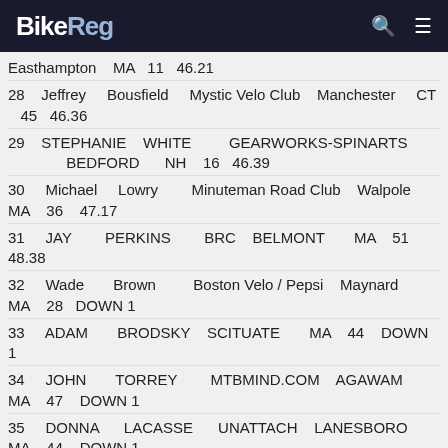BikeReg
Easthampton  MA  11  46.21
28  Jeffrey  Bousfield  Mystic Velo Club  Manchester  CT  45  46.36
29  STEPHANIE  WHITE  GEARWORKS-SPINARTS  BEDFORD  NH  16  46.39
30  Michael  Lowry  Minuteman Road Club  Walpole  MA  36  47.17
31  JAY  PERKINS  BRC  BELMONT  MA  51  48.38
32  Wade  Brown  Boston Velo / Pepsi  Maynard  MA  28  DOWN 1
33  ADAM  BRODSKY  SCITUATE  MA  44  DOWN 1
34  JOHN  TORREY  MTBMIND.COM  AGAWAM  MA  47  DOWN 1
35  DONNA  LACASSE  UNATTACH  LANESBORO  MA  44  DOWN 1